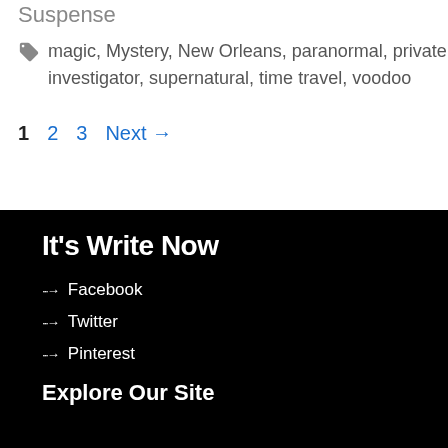Suspense
magic, Mystery, New Orleans, paranormal, private investigator, supernatural, time travel, voodoo
1  2  3  Next →
It's Write Now
Facebook
Twitter
Pinterest
Explore Our Site